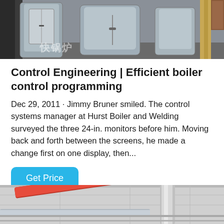[Figure (photo): Industrial boiler equipment photo showing large stainless steel cylindrical vessels in a facility, with Chinese watermark text '快锅炉']
Control Engineering | Efficient boiler control programming
Dec 29, 2011 · Jimmy Bruner smiled. The control systems manager at Hurst Boiler and Welding surveyed the three 24-in. monitors before him. Moving back and forth between the screens, he made a change first on one display, then...
[Figure (photo): Industrial facility interior showing overhead pipes and ductwork, with red and silver metallic pipes visible against a white ceiling structure]